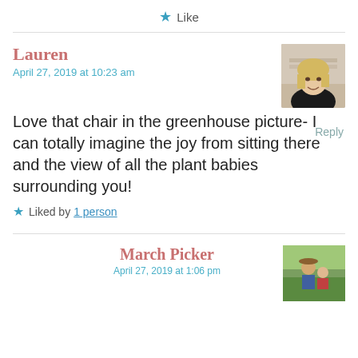★ Like
Lauren
April 27, 2019 at 10:23 am
[Figure (photo): Profile photo of Lauren, a woman with blonde hair wearing a black top]
Love that chair in the greenhouse picture- I can totally imagine the joy from sitting there and the view of all the plant babies surrounding you!
Reply
★ Liked by 1 person
March Picker
April 27, 2019 at 1:06 pm
[Figure (photo): Profile photo of March Picker, two people outdoors in a field]